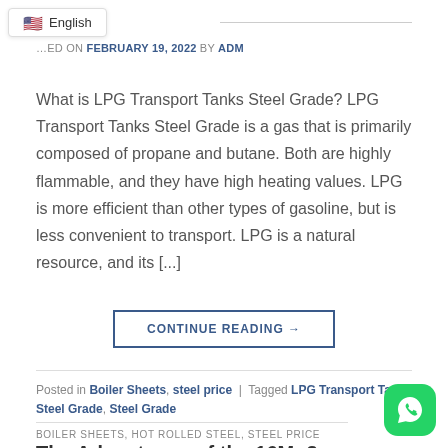English
Posted on FEBRUARY 19, 2022 BY ADM
What is LPG Transport Tanks Steel Grade? LPG Transport Tanks Steel Grade is a gas that is primarily composed of propane and butane. Both are highly flammable, and they have high heating values. LPG is more efficient than other types of gasoline, but is less convenient to transport. LPG is a natural resource, and its [...]
CONTINUE READING →
Posted in Boiler Sheets, steel price | Tagged LPG Transport Tanks Steel Grade, Steel Grade
BOILER SHEETS, HOT ROLLED STEEL, STEEL PRICE
The Advantages of the 16Mo3 Steel Grade